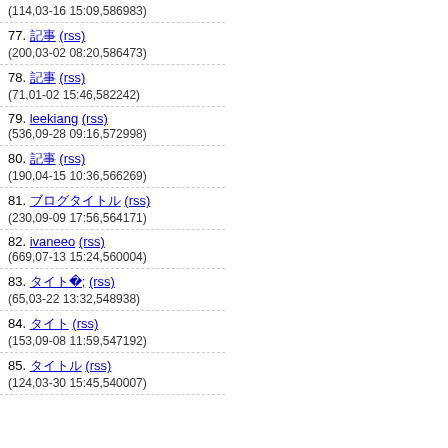76. landon (rss)
(114,03-16 15:09,586983)
77. 記事 (rss)
(200,03-02 08:20,586473)
78. 記事 (rss)
(71,01-02 15:46,582242)
79. leekiang (rss)
(536,09-28 09:16,572998)
80. 記事 (rss)
(190,04-15 10:36,566269)
81. ブログタイトル (rss)
(230,09-09 17:56,564171)
82. ivaneeo (rss)
(669,07-13 15:24,560004)
83. タイトル (rss)
(65,03-22 13:32,548938)
84. タイト (rss)
(153,09-08 11:59,547192)
85. タイトル (rss)
(124,03-30 15:45,540007)